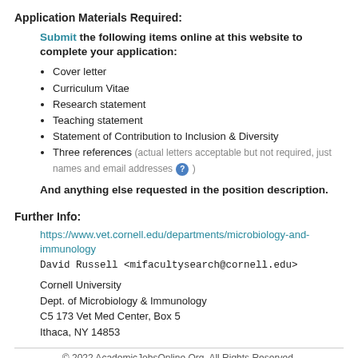Application Materials Required:
Submit the following items online at this website to complete your application:
Cover letter
Curriculum Vitae
Research statement
Teaching statement
Statement of Contribution to Inclusion & Diversity
Three references (actual letters acceptable but not required, just names and email addresses )
And anything else requested in the position description.
Further Info:
https://www.vet.cornell.edu/departments/microbiology-and-immunology
David Russell <mifacultysearch@cornell.edu>
Cornell University
Dept. of Microbiology & Immunology
C5 173 Vet Med Center, Box 5
Ithaca, NY 14853
© 2022 AcademicJobsOnline.Org. All Rights Reserved.